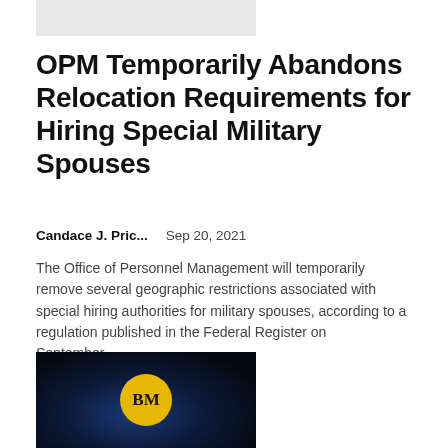[Figure (other): Gray header image placeholder banner]
OPM Temporarily Abandons Relocation Requirements for Hiring Special Military Spouses
Candace J. Pric...   Sep 20, 2021
The Office of Personnel Management will temporarily remove several geographic restrictions associated with special hiring authorities for military spouses, according to a regulation published in the Federal Register on September...
[Figure (logo): Dark background image with yellow circle containing bold BM initials logo]